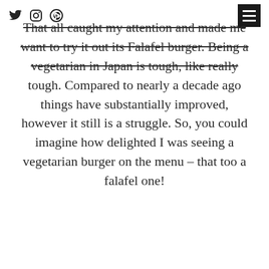[social icons: Twitter, Instagram, Pinterest] [hamburger menu]
That all caught my attention and made me want to try it out its Falafel burger. Being a vegetarian in Japan is tough, like really tough. Compared to nearly a decade ago things have substantially improved, however it still is a struggle. So, you could imagine how delighted I was seeing a vegetarian burger on the menu – that too a falafel one!